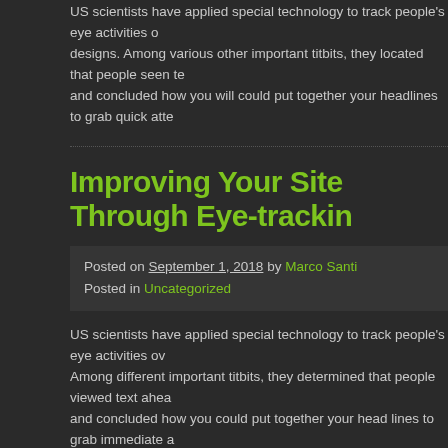US scientists have applied special technology to track people's eye activities over designs. Among various other important titbits, they located that people seen te and concluded how you will could put together your headlines to grab quick atte
Improving Your Site Through Eye-trackin
Posted on September 1, 2018 by Marco Santi
Posted in Uncategorized
US scientists have applied special technology to track people's eye activities ov Among different important titbits, they determined that people viewed text ahea and concluded how you could put together your head lines to grab immediate a
Enhancing your Web Page Through Eye Tracking